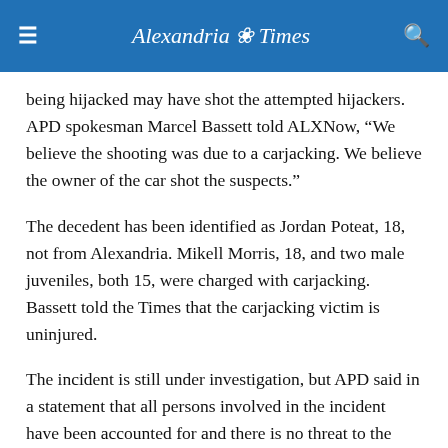Alexandria Times
being hijacked may have shot the attempted hijackers. APD spokesman Marcel Bassett told ALXNow, “We believe the shooting was due to a carjacking. We believe the owner of the car shot the suspects.”
The decedent has been identified as Jordan Poteat, 18, not from Alexandria. Mikell Morris, 18, and two male juveniles, both 15, were charged with carjacking. Bassett told the Times that the carjacking victim is uninjured.
The incident is still under investigation, but APD said in a statement that all persons involved in the incident have been accounted for and there is no threat to the public.
APD is asking anyone who may have information related to this case to contact APD Detective Matthew Kramarik at 703-